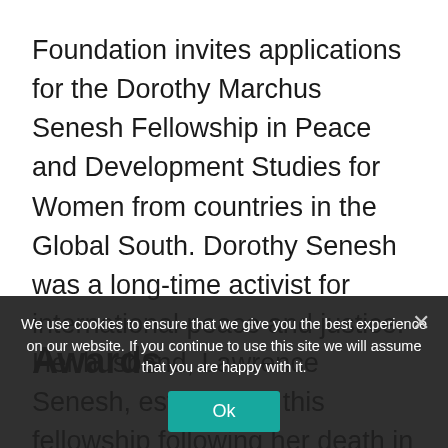Foundation invites applications for the Dorothy Marchus Senesh Fellowship in Peace and Development Studies for Women from countries in the Global South. Dorothy Senesh was a long-time activist for international peace and justice. Her husband, Lawrence Senesh, established this fellowship following her death in 1989. The first award was made at the IPRA 25th Anniversary conference, July 1990, in Groningen, Netherlands and has been made biennially ever since.
Awards
We use cookies to ensure that we give you the best experience on our website. If you continue to use this site we will assume that you are happy with it.